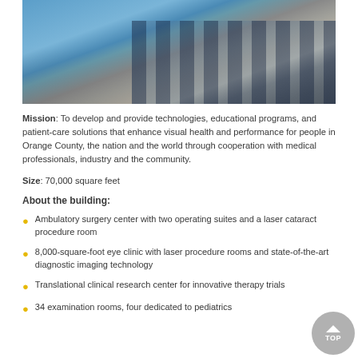[Figure (photo): Exterior photo of a modern medical building with glass facades, taken from a low angle against a blue sky with clouds]
Mission: To develop and provide technologies, educational programs, and patient-care solutions that enhance visual health and performance for people in Orange County, the nation and the world through cooperation with medical professionals, industry and the community.
Size: 70,000 square feet
About the building:
Ambulatory surgery center with two operating suites and a laser cataract procedure room
8,000-square-foot eye clinic with laser procedure rooms and state-of-the-art diagnostic imaging technology
Translational clinical research center for innovative therapy trials
34 examination rooms, four dedicated to pediatrics